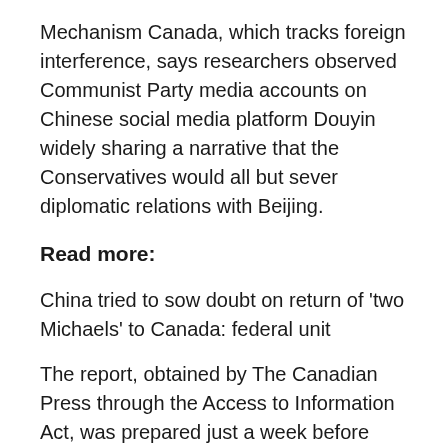Mechanism Canada, which tracks foreign interference, says researchers observed Communist Party media accounts on Chinese social media platform Douyin widely sharing a narrative that the Conservatives would all but sever diplomatic relations with Beijing.
Read more:
China tried to sow doubt on return of 'two Michaels' to Canada: federal unit
The report, obtained by The Canadian Press through the Access to Information Act, was prepared just a week before Canadians went to the polls.
[Figure (other): Close/dismiss button icon — a black circle with a white X inside]
Justin Trudeau's Liberals emerged from the